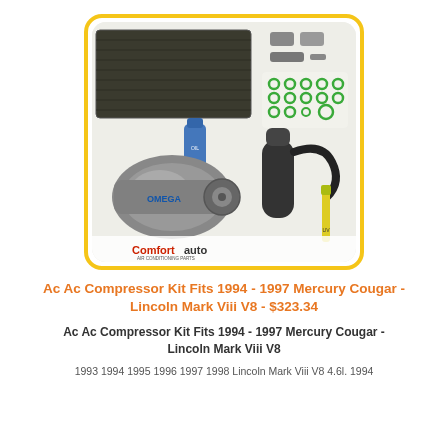[Figure (photo): AC compressor kit product photo showing condenser, compressor with Omega label, accumulator/drier, refrigerant oil bottle, o-rings, and other fittings, with ComfortAuto branding at bottom.]
Ac Ac Compressor Kit Fits 1994 - 1997 Mercury Cougar - Lincoln Mark Viii V8 - $323.34
Ac Ac Compressor Kit Fits 1994 - 1997 Mercury Cougar - Lincoln Mark Viii V8
1993 1994 1995 1996 1997 1998 Lincoln Mark Viii V8 4.6l. 1994